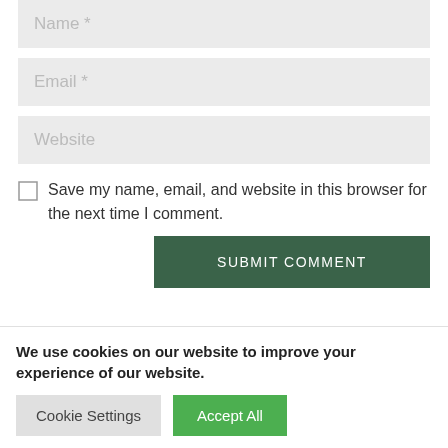Name *
Email *
Website
Save my name, email, and website in this browser for the next time I comment.
SUBMIT COMMENT
We use cookies on our website to improve your experience of our website.
Cookie Settings
Accept All